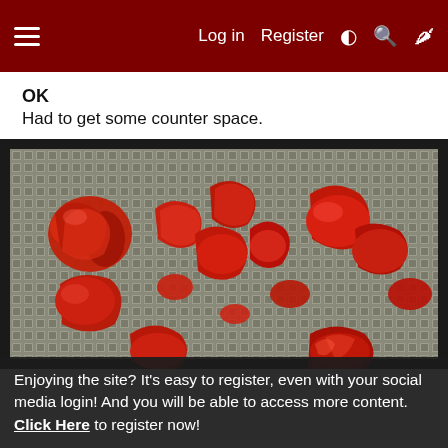Log in   Register
OK
Had to get some counter space.
[Figure (photo): Red peppers/chili pieces spread out on a mesh dehydrator tray, photographed from above.]
Enjoying the site? It's easy to register, even with your social media login! And you will be able to access more content. Click Here to register now!